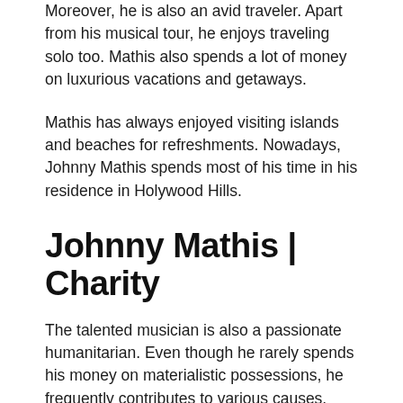Moreover, he is also an avid traveler. Apart from his musical tour, he enjoys traveling solo too. Mathis also spends a lot of money on luxurious vacations and getaways.
Mathis has always enjoyed visiting islands and beaches for refreshments. Nowadays, Johnny Mathis spends most of his time in his residence in Holywood Hills.
Johnny Mathis | Charity
The talented musician is also a passionate humanitarian. Even though he rarely spends his money on materialistic possessions, he frequently contributes to various causes.
Mathis has undergone the hardest phase of his life due to both alcohol and prescription drug addictions. So he has also decided to contribute to the rehabilitation center